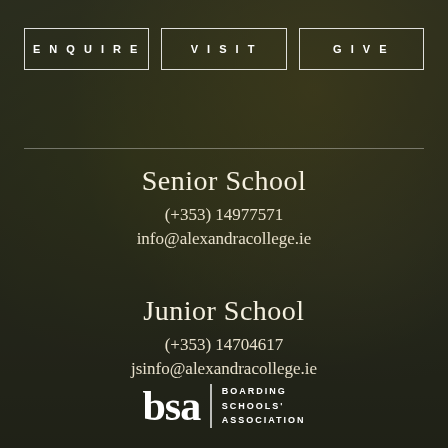[Figure (photo): Dark atmospheric background photo of trees with autumn foliage and a school building, overlaid with semi-transparent dark tint]
ENQUIRE
VISIT
GIVE
Senior School
(+353) 14977571
info@alexandracollege.ie
Junior School
(+353) 14704617
jsinfo@alexandracollege.ie
[Figure (logo): BSA Boarding Schools' Association logo in white — large 'bsa' serif letters with a vertical divider and stacked text 'BOARDING SCHOOLS' ASSOCIATION']